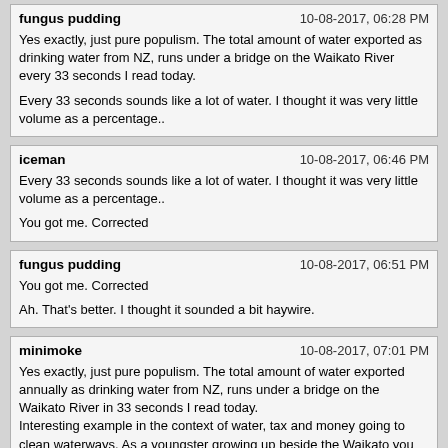fungus pudding | 10-08-2017, 06:28 PM
Yes exactly, just pure populism. The total amount of water exported as drinking water from NZ, runs under a bridge on the Waikato River every 33 seconds I read today.
Every 33 seconds sounds like a lot of water. I thought it was very little volume as a percentage..
iceman | 10-08-2017, 06:46 PM
Every 33 seconds sounds like a lot of water. I thought it was very little volume as a percentage..
You got me. Corrected
fungus pudding | 10-08-2017, 06:51 PM
You got me. Corrected
Ah. That's better. I thought it sounded a bit haywire.
minimoke | 10-08-2017, 07:01 PM
Yes exactly, just pure populism. The total amount of water exported annually as drinking water from NZ, runs under a bridge on the Waikato River in 33 seconds I read today.
Interesting example in the context of water, tax and money going to clean waterways. As a youngster growing up beside the Waikato you did not swim in it for its filth. Only good for the occasional eel or on a stinking hot day you would risk a paddle in a backwater eddy. That was many years ago and before "blo0dy dairy farms polluting the water!!!!"